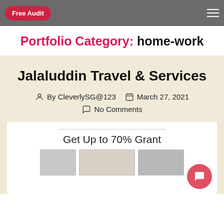Free Audit
Portfolio Category: home-work
Jalaluddin Travel & Services
By CleverlySG@123   March 27, 2021   No Comments
[Figure (screenshot): Preview of a website showing 'Get Up to 70% Grant' with website screenshots below]